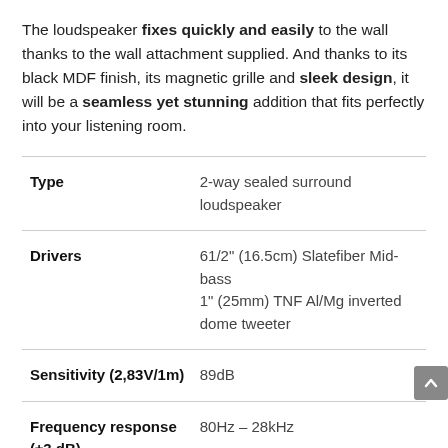The loudspeaker fixes quickly and easily to the wall thanks to the wall attachment supplied. And thanks to its black MDF finish, its magnetic grille and sleek design, it will be a seamless yet stunning addition that fits perfectly into your listening room.
| Specification | Value |
| --- | --- |
| Type | 2-way sealed surround loudspeaker |
| Drivers | 61/2" (16.5cm) Slatefiber Mid-bass
1" (25mm) TNF Al/Mg inverted dome tweeter |
| Sensitivity (2,83V/1m) | 89dB |
| Frequency response (±3 dB) | 80Hz – 28kHz |